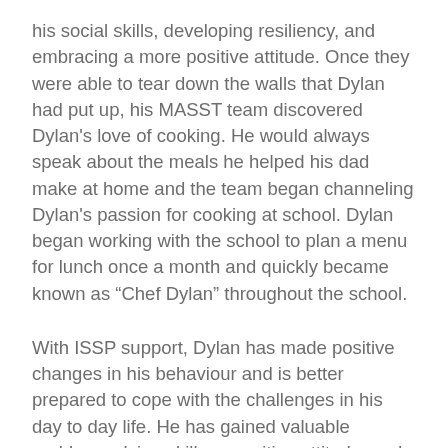his social skills, developing resiliency, and embracing a more positive attitude. Once they were able to tear down the walls that Dylan had put up, his MASST team discovered Dylan's love of cooking. He would always speak about the meals he helped his dad make at home and the team began channeling Dylan's passion for cooking at school. Dylan began working with the school to plan a menu for lunch once a month and quickly became known as “Chef Dylan” throughout the school.
With ISSP support, Dylan has made positive changes in his behaviour and is better prepared to cope with the challenges in his day to day life. He has gained valuable problem solving skills, a positive attitude, and his infectious smile brightens the hallways at Holy Trinity. ISSP staff have no doubt that Chef Dylan has found his career path